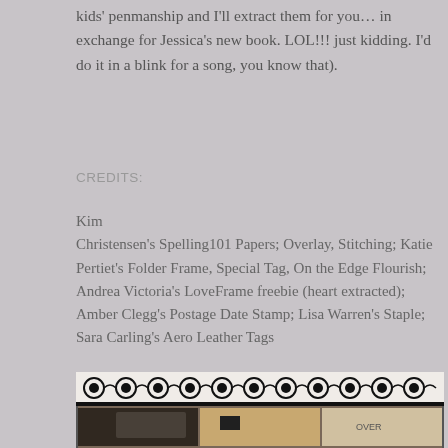kids' penmanship and I'll extract them for you… in exchange for Jessica's new book. LOL!!! just kidding. I'd do it in a blink for a song, you know that).
CREDITS:
Kim Christensen's Spelling101 Papers; Overlay, Stitching; Katie Pertiet's Folder Frame, Special Tag, On the Edge Flourish; Andrea Victoria's LoveFrame freebie (heart extracted); Amber Clegg's Postage Date Stamp; Lisa Warren's Staple; Sara Carling's Aero Leather Tags
[Figure (photo): Decorative black and white scroll/filigree border strip at top, below which are partial photos including what appears to be a person at a screen, a hand, and a stamp/postmark image]